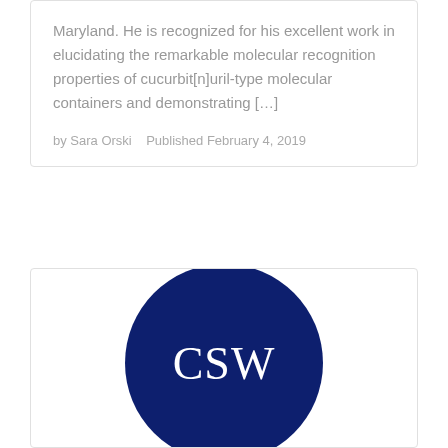Maryland. He is recognized for his excellent work in elucidating the remarkable molecular recognition properties of cucurbit[n]uril-type molecular containers and demonstrating […]
by Sara Orski   Published February 4, 2019
[Figure (logo): Dark navy blue circle with white serif text 'CSW' in the center]